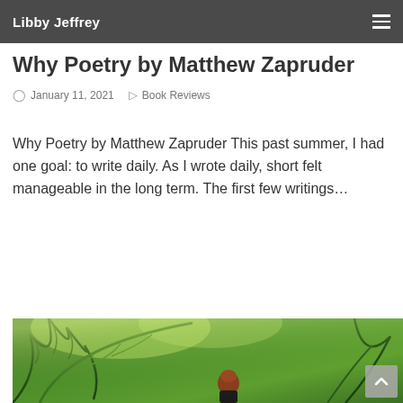Libby Jeffrey
Why Poetry by Matthew Zapruder
January 11, 2021   Book Reviews
Why Poetry by Matthew Zapruder This past summer, I had one goal: to write daily. As I wrote daily, short felt manageable in the long term. The first few writings…
Read More
[Figure (photo): A person with red hair dressed in black standing on a trail surrounded by large lush green ferns and tropical vegetation.]